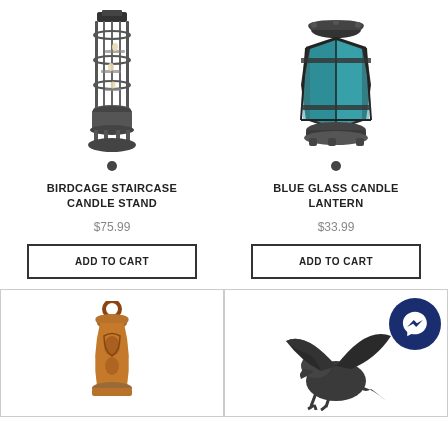[Figure (photo): Birdcage staircase candle stand product photo]
[Figure (photo): Blue glass candle lantern product photo]
BIRDCAGE STAIRCASE CANDLE STAND
$75.99
ADD TO CART
BLUE GLASS CANDLE LANTERN
$33.99
ADD TO CART
[Figure (photo): Copper/bronze small lantern product photo]
[Figure (photo): Dark dragon figurine product photo with messenger chat badge overlay]